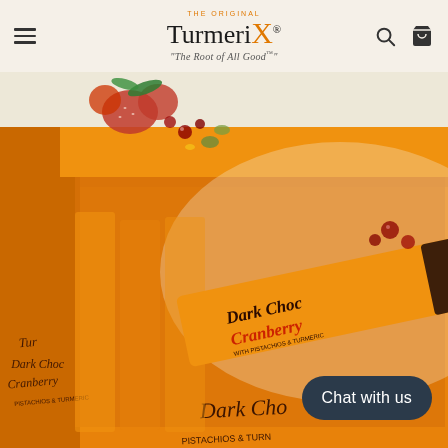TurmeriX — The Root of All Good
[Figure (photo): Box of TurmeriX Dark Choc Cranberry bars with pistachios and turmeric, orange packaging with a chocolate-dipped bar resting on top, strawberries and cranberries visible in background]
Chat with us